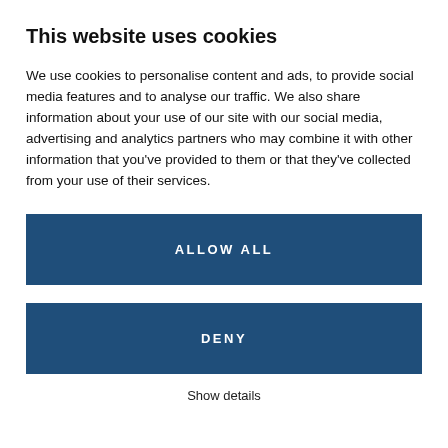This website uses cookies
We use cookies to personalise content and ads, to provide social media features and to analyse our traffic. We also share information about your use of our site with our social media, advertising and analytics partners who may combine it with other information that you’ve provided to them or that they’ve collected from your use of their services.
ALLOW ALL
DENY
Show details